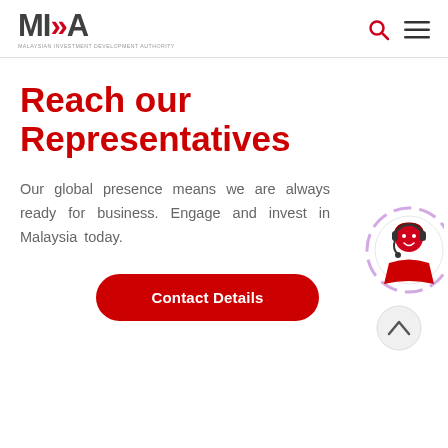[Figure (logo): MIDA - Malaysian Investment Development Authority logo with red chevron arrows]
Reach our Representatives
Our global presence means we are always ready for business. Engage and invest in Malaysia today.
[Figure (illustration): Customer service chat widget with a female representative wearing headset, with purple circular animation]
Contact Details